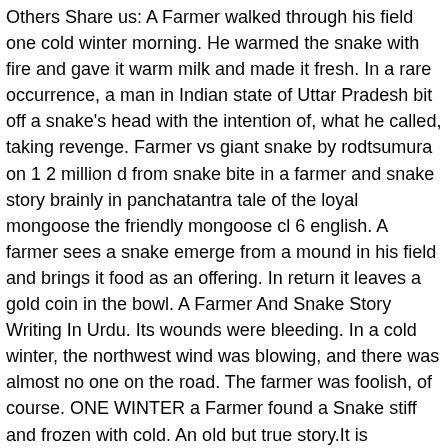Others Share us: A Farmer walked through his field one cold winter morning. He warmed the snake with fire and gave it warm milk and made it fresh. In a rare occurrence, a man in Indian state of Uttar Pradesh bit off a snake's head with the intention of, what he called, taking revenge. Farmer vs giant snake by rodtsumura on 1 2 million d from snake bite in a farmer and snake story brainly in panchatantra tale of the loyal mongoose the friendly mongoose cl 6 english. A farmer sees a snake emerge from a mound in his field and brings it food as an offering. In return it leaves a gold coin in the bowl. A Farmer And Snake Story Writing In Urdu. Its wounds were bleeding. In a cold winter, the northwest wind was blowing, and there was almost no one on the road. The farmer was foolish, of course. ONE WINTER a Farmer found a Snake stiff and frozen with cold. An old but true story.It is universal truth that nature cannot change.A bad person or beast is always harmful to their friends. The Farmer knew how deadly the Snake could be, and yet he picked it up and [...] The farmer knew the storm was coming, could see the big dark clouds building, and the wind beginning to blow. A Farmer walked through his field one cold winter morning. On the ground lay a Snake, stiff and frozen with the cold. Play online or download to listen offline - ... The Snake soon revived, and when it had enough strength, bit the man who had been so kind to it. The extreme pain and the sorry sight of the severed tail, made the snake burn with rage. The Snake was quickly revived by the warmth, and upon its return bit it, before further inflicting and its